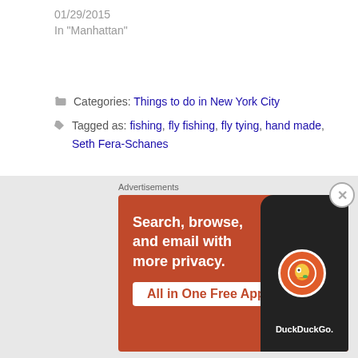01/29/2015
In "Manhattan"
Categories: Things to do in New York City
Tagged as: fishing, fly fishing, fly tying, hand made, Seth Fera-Schanes
← Where to Get the Great Buffalo Wings in Harlem
Where To Go For Great Salvadorian Food In Washington Heights →
Advertisements
[Figure (screenshot): DuckDuckGo advertisement banner on orange background with phone mockup showing DuckDuckGo logo. Text: 'Search, browse, and email with more privacy. All in One Free App']